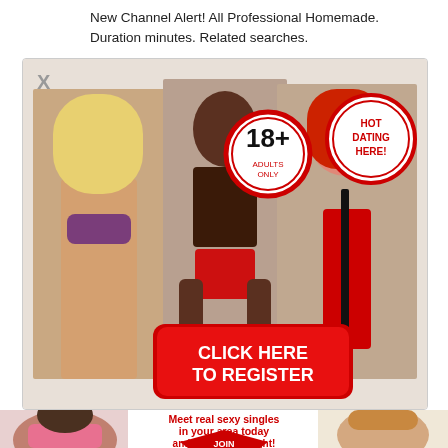New Channel Alert! All Professional Homemade. Duration minutes. Related searches.
[Figure (advertisement): Adult dating advertisement with three women in lingerie, 18+ adults only badge, HOT DATING HERE badge, and red CLICK HERE TO REGISTER button]
[Figure (advertisement): Adult dating banner ad with two women and red text: Meet real sexy singles in your area today and have sex tonight! with red JOIN NOW button]